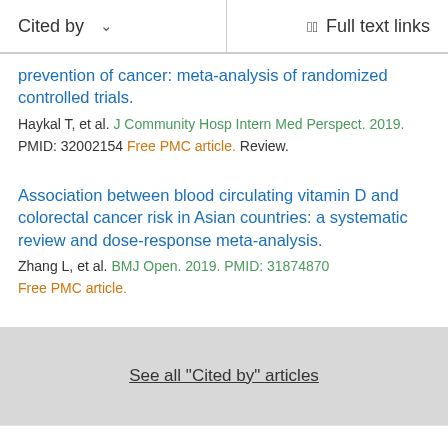Cited by   Full text links
prevention of cancer: meta-analysis of randomized controlled trials.
Haykal T, et al. J Community Hosp Intern Med Perspect. 2019.
PMID: 32002154 Free PMC article. Review.
Association between blood circulating vitamin D and colorectal cancer risk in Asian countries: a systematic review and dose-response meta-analysis.
Zhang L, et al. BMJ Open. 2019. PMID: 31874870
Free PMC article.
See all "Cited by" articles
Ref...